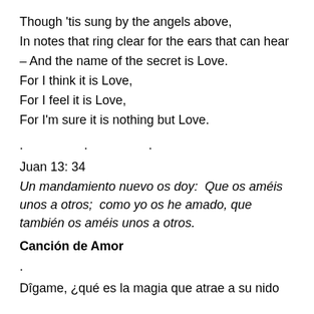Though 'tis sung by the angels above,
In notes that ring clear for the ears that can hear
– And the name of the secret is Love.
For I think it is Love,
For I feel it is Love,
For I'm sure it is nothing but Love.
. . .
Juan 13: 34
Un mandamiento nuevo os doy:  Que os améis unos a otros;  como yo os he amado, que también os améis unos a otros.
Canción de Amor
.
Dîgame, ¿qué es la magia que atrae a su nido